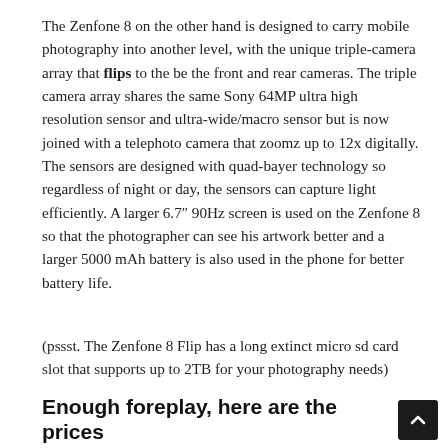The Zenfone 8 on the other hand is designed to carry mobile photography into another level, with the unique triple-camera array that flips to the be the front and rear cameras. The triple camera array shares the same Sony 64MP ultra high resolution sensor and ultra-wide/macro sensor but is now joined with a telephoto camera that zoomz up to 12x digitally. The sensors are designed with quad-bayer technology so regardless of night or day, the sensors can capture light efficiently. A larger 6.7″ 90Hz screen is used on the Zenfone 8 so that the photographer can see his artwork better and a larger 5000 mAh battery is also used in the phone for better battery life.
(pssst. The Zenfone 8 Flip has a long extinct micro sd card slot that supports up to 2TB for your photography needs)
Enough foreplay, here are the prices